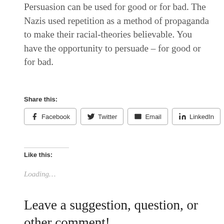Persuasion can be used for good or for bad. The Nazis used repetition as a method of propaganda to make their racial-theories believable. You have the opportunity to persuade – for good or for bad.
Share this:
Facebook Twitter Email LinkedIn
Like this:
Loading...
Leave a suggestion, question, or other comment!